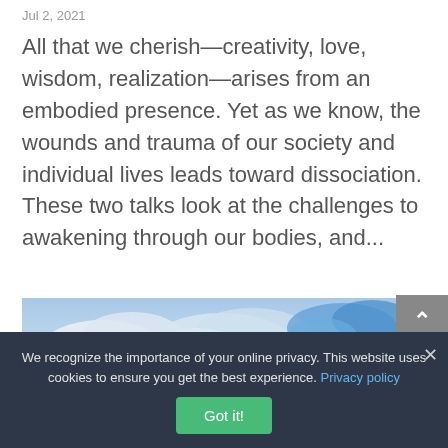Jul 2, 2021
All that we cherish—creativity, love, wisdom, realization—arises from an embodied presence. Yet as we know, the wounds and trauma of our society and individual lives leads toward dissociation. These two talks look at the challenges to awakening through our bodies, and...
[Figure (photo): Partial view of blue sky with clouds]
We recognize the importance of your online privacy. This website uses cookies to ensure you get the best experience. Privacy policy
Got it!